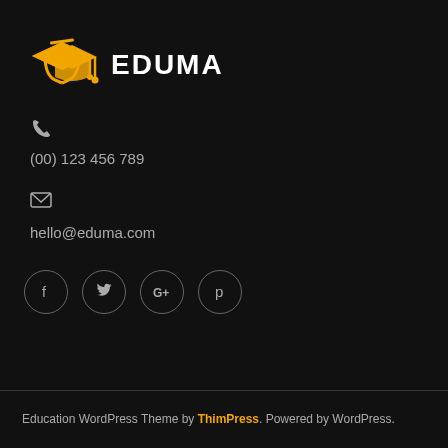[Figure (logo): Eduma education logo with graduation cap icon in gold/yellow and bold white text 'EDUMA']
✆
(00) 123 456 789
✉
hello@eduma.com
[Figure (other): Social media icons in circles: Facebook (f), Twitter (bird), Google+ (G+), Pinterest (P)]
Education WordPress Theme by ThimPress. Powered by WordPress.